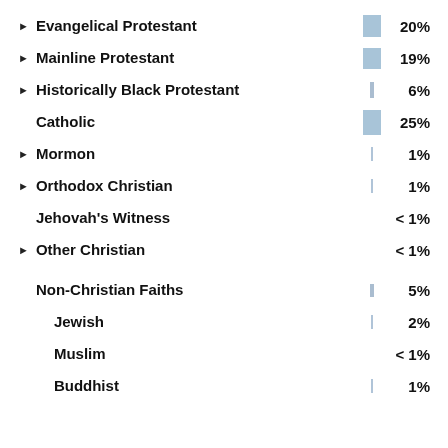[Figure (bar-chart): Religious affiliation percentages]